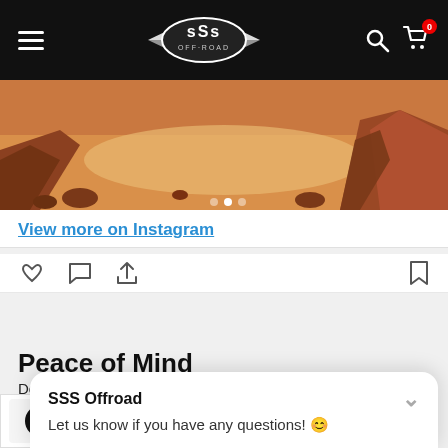SSS Off-Road navigation bar with hamburger menu, SSS Off-Road logo, search and cart icons
[Figure (photo): Desert landscape with red rock formations and sandy terrain]
View more on Instagram
[Figure (other): Social action icons: heart, comment bubble, share arrow, bookmark]
Peace of Mind
Don't worry about the rocks. UHMW allows you to glide over obstacles without a problem
[Figure (other): SSS Offroad chat popup with text: Let us know if you have any questions!]